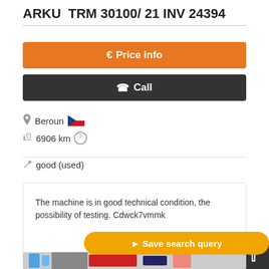ARKU  TRM 30100/ 21 INV 24394
€ Price info
✆ Call
Beroun [Czech Republic flag]
6906 km ?
good (used)
The machine is in good technical condition, the possibility of testing. Cdwck7vmmk
Save search query